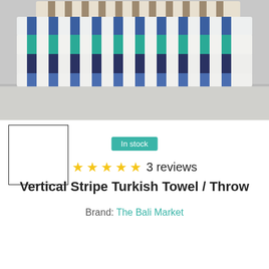[Figure (photo): Stack of folded vertical stripe Turkish towels in blue, teal, and navy/white stripe patterns on a light gray surface]
[Figure (photo): Small thumbnail image of the same towel product, white/blank thumbnail with black border]
In stock
★★★★★ 3 reviews
Vertical Stripe Turkish Towel / Throw
Brand: The Bali Market